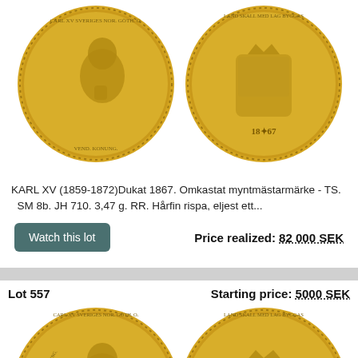[Figure (photo): Two gold coins side by side — obverse showing Karl XV portrait bust, reverse showing Swedish coat of arms, dated 1867. Dukat 1867.]
KARL XV (1859-1872)Dukat 1867. Omkastat myntmästarmärke - TS. SM 8b. JH 710. 3,47 g. RR. Hårfin rispa, eljest ett...
Watch this lot
Price realized: 82 000 SEK
Lot 557
Starting price: 5000 SEK
[Figure (photo): Two gold coins side by side — obverse showing Karl XV portrait bust, reverse showing Swedish coat of arms. Lot 557.]